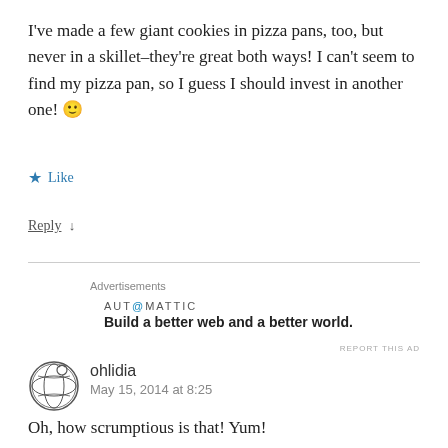I've made a few giant cookies in pizza pans, too, but never in a skillet–they're great both ways! I can't seem to find my pizza pan, so I guess I should invest in another one! 🙂
★ Like
Reply ↓
Advertisements
[Figure (logo): Automattic logo with text: AUT@MATTIC]
Build a better web and a better world.
REPORT THIS AD
[Figure (illustration): Round avatar icon with circular black and white design resembling a globe or cookie pattern]
ohlidia
May 15, 2014 at 8:25
Oh, how scrumptious is that! Yum!